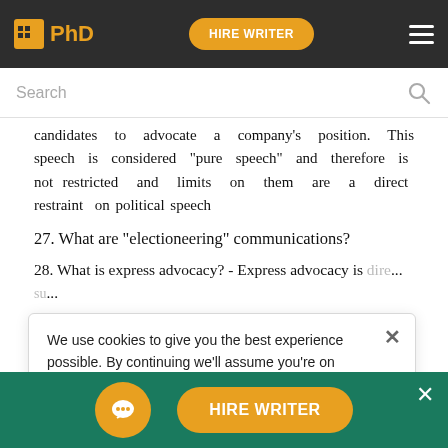IIPhD | HIRE WRITER
candidates to advocate a company's position. This speech is considered “pure speech” and therefore is not restricted and limits on them are a direct restraint on political speech
27. What are “electioneering” communications?
28. What is express advocacy? - Express advocacy is direct the voter to elect or defeat a candidate by using such express words as...
We use cookies to give you the best experience possible. By continuing we’ll assume you’re on board with our cookie policy
29. What provisions of the BCRA were upheld as constitutional by the U. S. Supreme Court in its Citizens
HIRE WRITER